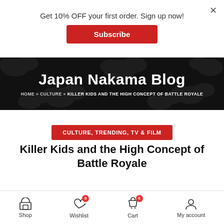Get 10% OFF your first order. Sign up now!
Subscribe
×
Japan Nakama Blog
HOME » CULTURE » KILLER KIDS AND THE HIGH CONCEPT OF BATTLE ROYALE
CULTURE, TRENDING, TV & FILM
Killer Kids and the High Concept of Battle Royale
Shop  Wishlist 0  Cart 0  My account